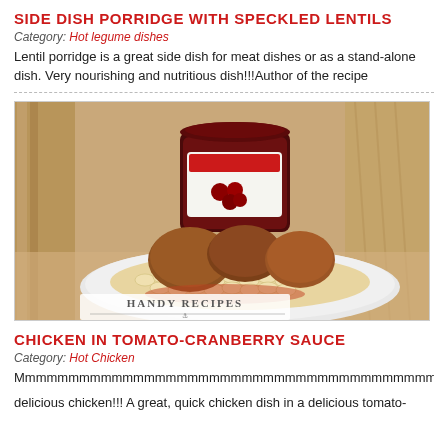SIDE DISH PORRIDGE WITH SPECKLED LENTILS
Category: Hot legume dishes
Lentil porridge is a great side dish for meat dishes or as a stand-alone dish. Very nourishing and nutritious dish!!!Author of the recipe
[Figure (photo): Photo of chicken dish on a white plate with macaroni pasta, served with a jar of cranberry preserves in background. Handy Recipes watermark in lower left corner.]
CHICKEN IN TOMATO-CRANBERRY SAUCE
Category: Hot Chicken
Mmmmmmmmmmmmmmmmmmmmmmmmmmmmmmmmmmmmmmmmmmmmm delicious chicken!!! A great, quick chicken dish in a delicious tomato-